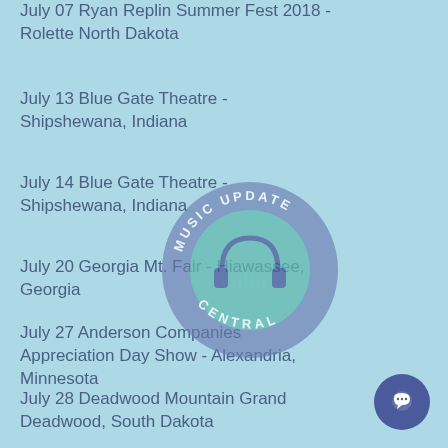July 07 Ryan Replin Summer Fest 2018 - Rolette North Dakota
July 13 Blue Gate Theatre - Shipshewana, Indiana
July 14 Blue Gate Theatre - Shipshewana, Indiana
July 20 Georgia Mt. Fair - Hiawassee, Georgia
July 27 Anderson Companies Appreciation Day Show - Alexandria, Minnesota
July 28 Deadwood Mountain Grand Deadwood, South Dakota
[Figure (logo): Music Update Central watermark logo - circular badge with headphones icon, teal inner circle, slate/purple outer ring with text MUSIC UPDATE CENTRAL]